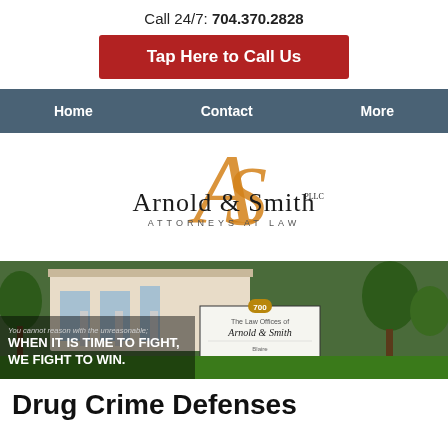Call 24/7: 704.370.2828
Tap Here to Call Us
Home | Contact | More
[Figure (logo): Arnold & Smith Attorneys at Law logo with orange stylized AS monogram]
[Figure (photo): Photo of Arnold & Smith law office building with sign in front. Overlaid text: 'You cannot reason with the unreasonable; WHEN IT IS TIME TO FIGHT, WE FIGHT TO WIN.']
Drug Crime Defenses